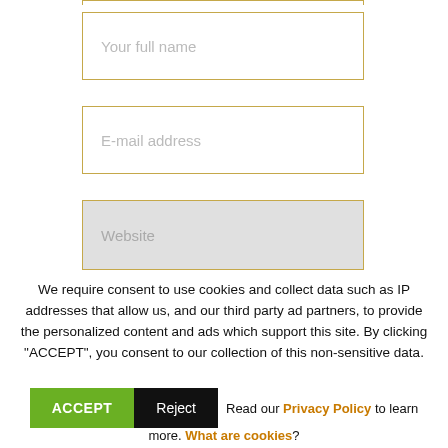[Figure (screenshot): Web form with input fields: 'Your full name', 'E-mail address', 'Website', with gold/tan borders on a white background]
We require consent to use cookies and collect data such as IP addresses that allow us, and our third party ad partners, to provide the personalized content and ads which support this site. By clicking "ACCEPT", you consent to our collection of this non-sensitive data.
ACCEPT  Reject  Read our Privacy Policy to learn more. What are cookies?